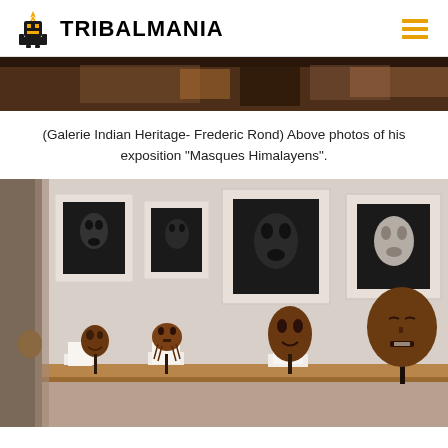TRIBALMANIA
[Figure (photo): Top banner photo of a dimly lit gallery interior with warm brown tones]
(Galerie Indian Heritage- Frederic Rond) Above photos of his exposition "Masques Himalayens".
[Figure (photo): Gallery interior showing four tribal masks on white pedestals on a wooden shelf, with black-and-white framed photos of masks hanging on the wall behind them.]